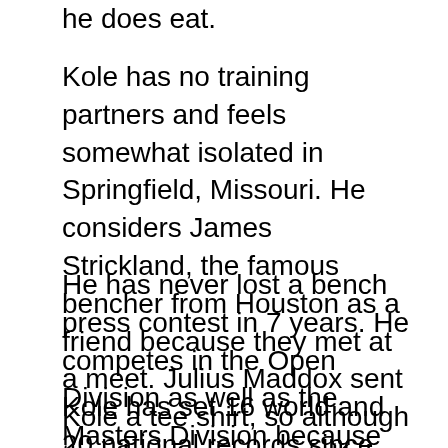he does eat.
Kole has no training partners and feels somewhat isolated in Springfield, Missouri. He considers James Strickland, the famous bencher from Houston as a friend because they met at a meet. Julius Maddox sent Kole a tee shirt, so although they have never met, Kole thinks highly of the all time raw world bench record holder.
He has never lost a bench press contest in 7 years. He competes in the Open Division as well as the Masters Division because he seeks the most competition.
Kole has set 16 world and 20 national records since he began competing 6 years